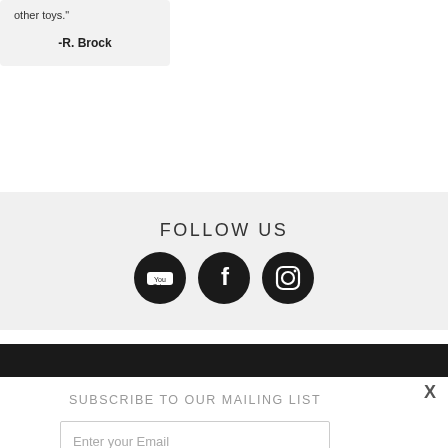other toys."
-R. Brock
FOLLOW US
[Figure (infographic): Three social media icons in dark circles: YouTube, Facebook, Instagram]
SUBSCRIBE TO OUR MAILING LIST
X
Enter your Email
Subscribe